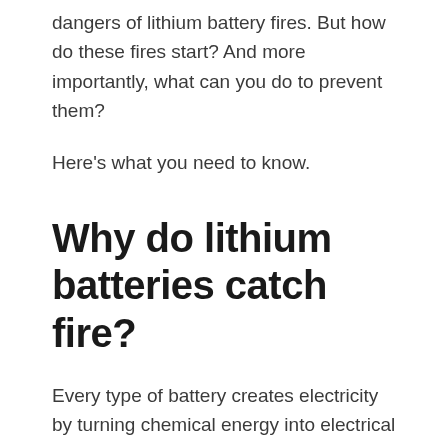dangers of lithium battery fires. But how do these fires start? And more importantly, what can you do to prevent them?
Here's what you need to know.
Why do lithium batteries catch fire?
Every type of battery creates electricity by turning chemical energy into electrical energy. It does this by using chemical reactions to create a flow of electrons from one material to another. We'll spare you the rest of the science lesson. The important thing to know is that